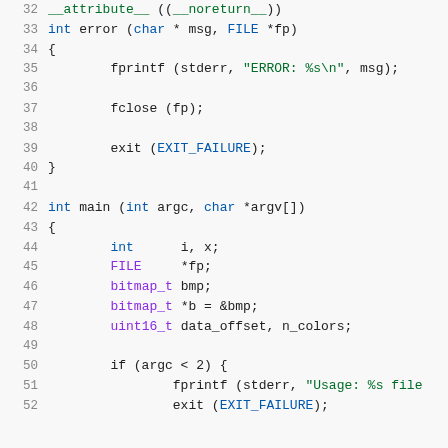Code listing lines 32-52 showing C source code with syntax highlighting
32  __attribute__ ((__noreturn__))
33  int error (char * msg, FILE *fp)
34  {
35          fprintf (stderr, "ERROR: %s\n", msg);
36
37          fclose (fp);
38
39          exit (EXIT_FAILURE);
40  }
41
42  int main (int argc, char *argv[])
43  {
44          int      i, x;
45          FILE     *fp;
46          bitmap_t bmp;
47          bitmap_t *b = &bmp;
48          uint16_t data_offset, n_colors;
49
50          if (argc < 2) {
51                  fprintf (stderr, "Usage: %s file
52                  exit (EXIT_FAILURE);